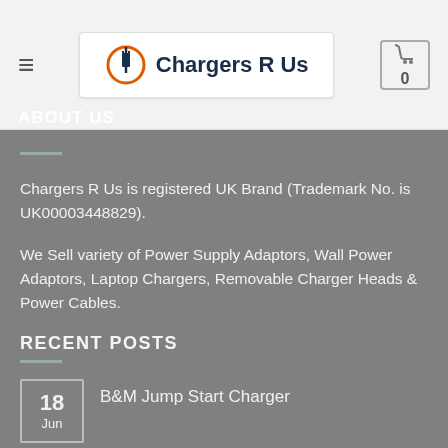Chargers R Us
ABOUT US
Chargers R Us is registered UK Brand (Trademark No. is UK00003448829).
We Sell variety of Power Supply Adaptors, Wall Power Adaptors, Laptop Chargers, Removable Charger Heads & Power Cables.
RECENT POSTS
18 Jun  B&M Jump Start Charger
04 Nov  What if I receive a different adapter to what was...